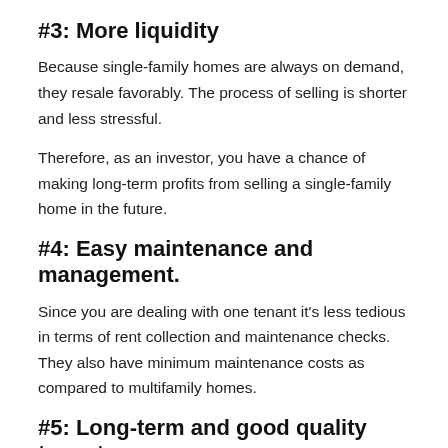#3: More liquidity
Because single-family homes are always on demand, they resale favorably. The process of selling is shorter and less stressful.
Therefore, as an investor, you have a chance of making long-term profits from selling a single-family home in the future.
#4: Easy maintenance and management.
Since you are dealing with one tenant it's less tedious in terms of rent collection and maintenance checks. They also have minimum maintenance costs as compared to multifamily homes.
#5: Long-term and good quality tenants.
As an investor in single-family homes, you can be choosy about who to rent to. These homes mostly attract families or couples who stay longer and are financially stable.